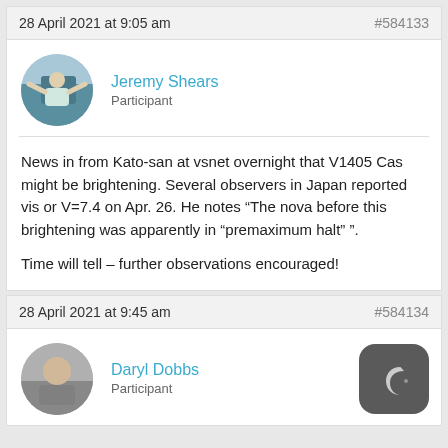28 April 2021 at 9:05 am  #584133
[Figure (photo): Round avatar photo of Jeremy Shears]
Jeremy Shears
Participant
News in from Kato-san at vsnet overnight that V1405 Cas might be brightening.  Several observers in Japan reported vis or V=7.4 on Apr. 26. He notes “The nova before this brightening was apparently in “premaximum halt” ”.

Time will tell – further observations encouraged!
28 April 2021 at 9:45 am  #584134
[Figure (photo): Round avatar photo of Daryl Dobbs]
Daryl Dobbs
Participant
[Figure (logo): Dark rounded square icon with crescent moon symbol]